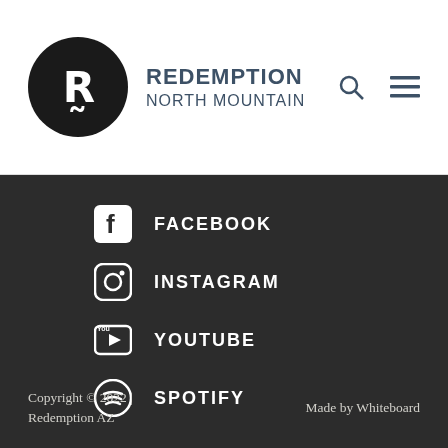[Figure (logo): Redemption North Mountain church logo with circular black icon containing letter R and text REDEMPTION NORTH MOUNTAIN, plus search and menu icons]
FACEBOOK
INSTAGRAM
YOUTUBE
SPOTIFY
Copyright © 2022 | Redemption AZ   Made by Whiteboard